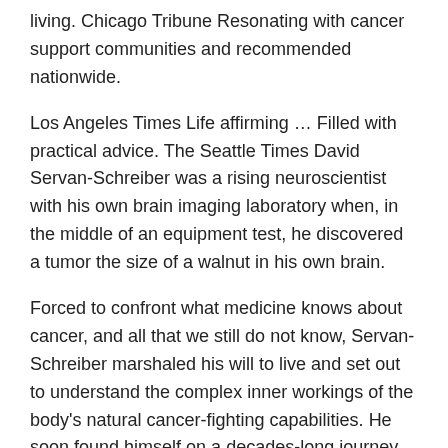living. Chicago Tribune Resonating with cancer support communities and recommended nationwide.
Los Angeles Times Life affirming … Filled with practical advice. The Seattle Times David Servan-Schreiber was a rising neuroscientist with his own brain imaging laboratory when, in the middle of an equipment test, he discovered a tumor the size of a walnut in his own brain.
Forced to confront what medicine knows about cancer, and all that we still do not know, Servan-Schreiber marshaled his will to live and set out to understand the complex inner workings of the body's natural cancer-fighting capabilities. He soon found himself on a decades-long journey from disease and relapse into scientific exploration and, finally, a new view of health.